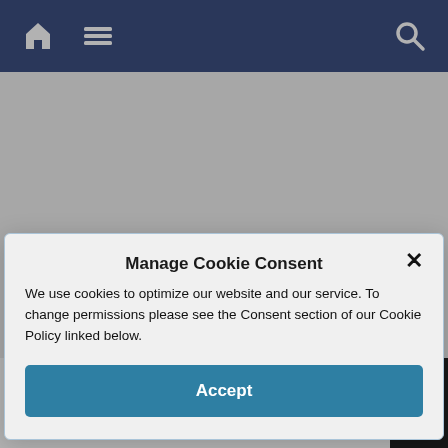[Figure (screenshot): Website navigation bar with home icon, hamburger menu icon on left, and search icon on right, on a dark blue/purple background]
[Figure (screenshot): Modal dialog: Manage Cookie Consent with close X button, descriptive text about cookies, and Accept button]
generally big and boisterous. Cuastecomate’s waves lapped gently on the sandy beach.
[Figure (screenshot): Advertisement banner: CarMax - We're Open and Here to Help, with CarMax logo, navigation arrow icon, and close/weather icons on black background]